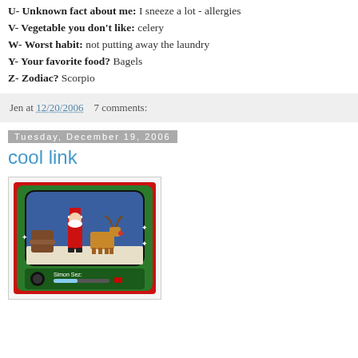U- Unknown fact about me: I sneeze a lot - allergies
V- Vegetable you don't like: celery
W- Worst habit: not putting away the laundry
Y- Your favorite food? Bagels
Z- Zodiac? Scorpio
Jen at 12/20/2006   7 comments:
Tuesday, December 19, 2006
cool link
[Figure (photo): A Christmas-themed interactive TV interface (green and red) showing Santa Claus standing next to a reindeer in a TV studio set with a recliner chair. Text at the bottom reads 'Simon Sez:' with a progress bar.]